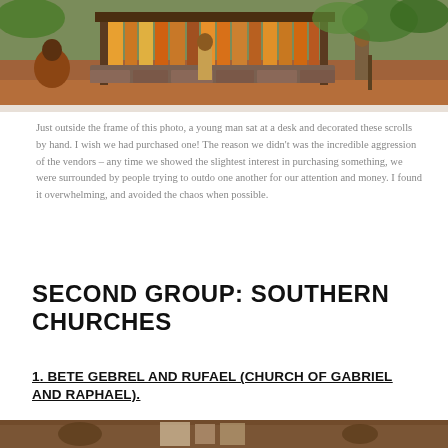[Figure (photo): Outdoor market scene with people standing near a wooden stall displaying colorful scrolls or crafts, with red soil ground and green vegetation in background]
Just outside the frame of this photo, a young man sat at a desk and decorated these scrolls by hand. I wish we had purchased one! The reason we didn't was the incredible aggression of the vendors – any time we showed the slightest interest in purchasing something, we were surrounded by people trying to outdo one another for our attention and money. I found it overwhelming, and avoided the chaos when possible.
SECOND GROUP: SOUTHERN CHURCHES
1. BETE GEBREL AND RUFAEL (CHURCH OF GABRIEL AND RAPHAEL).
[Figure (photo): Partial view of another outdoor photo at the bottom of the page, showing people in a reddish-brown environment]